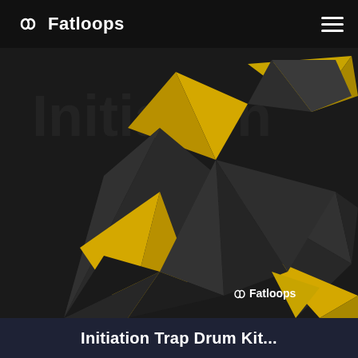Fatloops
[Figure (illustration): 3D abstract geometric shapes with dark grey concrete-textured polygonal pyramids and gold/yellow triangular facets on a dark background, with Fatloops watermark logo in bottom right]
Initiation Trap Drum Kit...